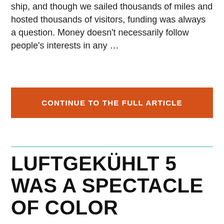ship, and though we sailed thousands of miles and hosted thousands of visitors, funding was always a question. Money doesn't necessarily follow people's interests in any …
CONTINUE TO THE FULL ARTICLE
LUFTGEKÜHLT 5 WAS A SPECTACLE OF COLOR